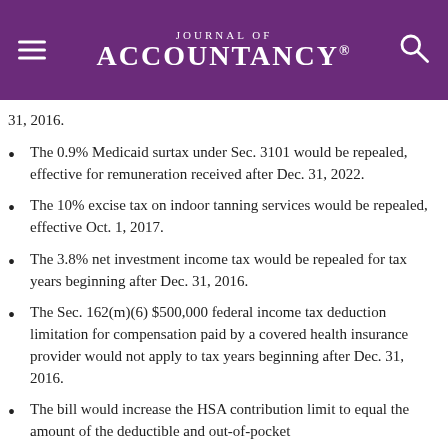Journal of Accountancy
31, 2016.
The 0.9% Medicaid surtax under Sec. 3101 would be repealed, effective for remuneration received after Dec. 31, 2022.
The 10% excise tax on indoor tanning services would be repealed, effective Oct. 1, 2017.
The 3.8% net investment income tax would be repealed for tax years beginning after Dec. 31, 2016.
The Sec. 162(m)(6) $500,000 federal income tax deduction limitation for compensation paid by a covered health insurance provider would not apply to tax years beginning after Dec. 31, 2016.
The bill would increase the HSA contribution limit to equal the amount of the deductible and out-of-pocket